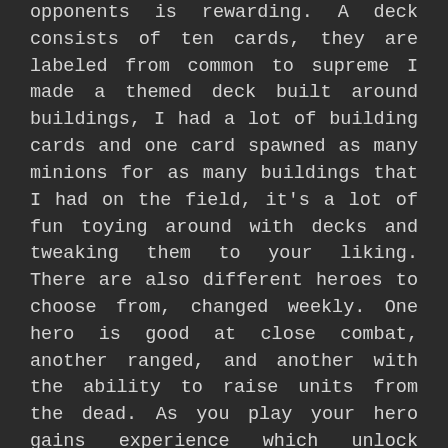opponents is rewarding. A deck consists of ten cards, they are labeled from common to supreme I made a themed deck built around buildings, I had a lot of building cards and one card spawned as many minions for as many buildings that I had on the field, it's a lot of fun toying around with decks and tweaking them to your liking. There are also different heroes to choose from, changed weekly. One hero is good at close combat, another ranged, and another with the ability to raise units from the dead. As you play your hero gains experience which unlock abilities while in game. There are also two bridges, once a unit crosses it, your side controls it, which gives you even more experience and adds another layer of strategy.
The game is generous with giving you free units as well. You gain gold by winning games and one thousand gold gets you one unit, chosen at random.